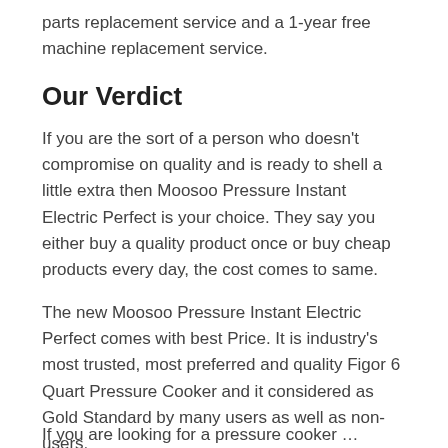parts replacement service and a 1-year free machine replacement service.
Our Verdict
If you are the sort of a person who doesn't compromise on quality and is ready to shell a little extra then Moosoo Pressure Instant Electric Perfect is your choice. They say you either buy a quality product once or buy cheap products every day, the cost comes to same.
The new Moosoo Pressure Instant Electric Perfect comes with best Price. It is industry's most trusted, most preferred and quality Figor 6 Quart Pressure Cooker and it considered as Gold Standard by many users as well as non-users.
If you are looking for a pressure cooker …